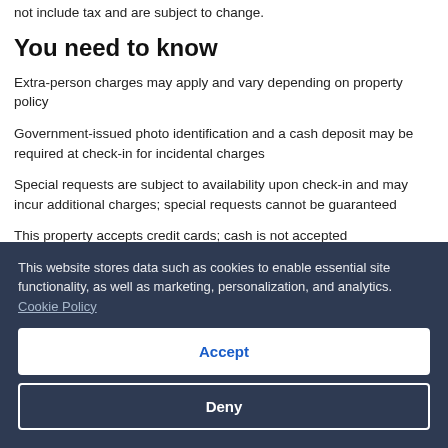not include tax and are subject to change.
You need to know
Extra-person charges may apply and vary depending on property policy
Government-issued photo identification and a cash deposit may be required at check-in for incidental charges
Special requests are subject to availability upon check-in and may incur additional charges; special requests cannot be guaranteed
This property accepts credit cards; cash is not accepted
Noise-free guestrooms cannot be guaranteed
This website stores data such as cookies to enable essential site functionality, as well as marketing, personalization, and analytics. Cookie Policy
Accept
Deny